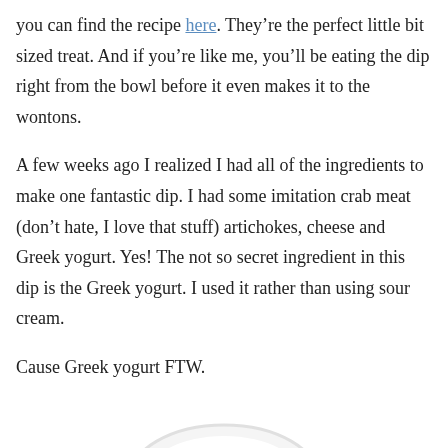you can find the recipe here. They're the perfect little bit sized treat. And if you're like me, you'll be eating the dip right from the bowl before it even makes it to the wontons.

A few weeks ago I realized I had all of the ingredients to make one fantastic dip. I had some imitation crab meat (don't hate, I love that stuff) artichokes, cheese and Greek yogurt. Yes! The not so secret ingredient in this dip is the Greek yogurt. I used it rather than using sour cream.

Cause Greek yogurt FTW.
[Figure (photo): Partial view of a white bowl, cropped at the bottom of the page.]